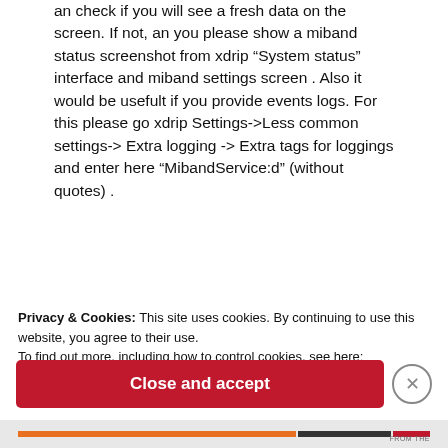an check if you will see a fresh data on the screen. If not, an you please show a miband status screenshot from xdrip “System status” interface and miband settings screen . Also it would be usefult if you provide events logs. For this please go xdrip Settings->Less common settings-> Extra logging -> Extra tags for loggings and enter here “MibandService:d” (without quotes) .
Privacy & Cookies: This site uses cookies. By continuing to use this website, you agree to their use.
To find out more, including how to control cookies, see here:
Cookie Policy
Close and accept